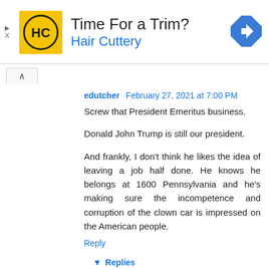[Figure (other): Advertisement banner for Hair Cuttery with yellow logo, 'Time For a Trim?' heading, 'Hair Cuttery' subtitle in blue, and a blue diamond navigation arrow icon on the right.]
edutcher February 27, 2021 at 7:00 PM
Screw that President Emeritus business.

Donald John Trump is still our president.

And frankly, I don't think he likes the idea of leaving a job half done. He knows he belongs at 1600 Pennsylvania and he's making sure the incompetence and corruption of the clown car is impressed on the American people.
Reply
▾ Replies
Anonymous February 28, 2021 at 3:30 PM
I share your sentiment but respectfully disagree: